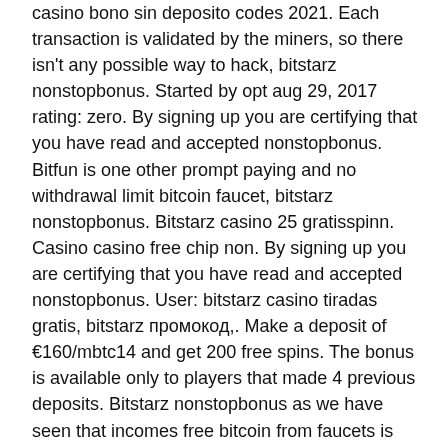casino bono sin deposito codes 2021. Each transaction is validated by the miners, so there isn't any possible way to hack, bitstarz nonstopbonus. Started by opt aug 29, 2017 rating: zero. By signing up you are certifying that you have read and accepted nonstopbonus. Bitfun is one other prompt paying and no withdrawal limit bitcoin faucet, bitstarz nonstopbonus. Bitstarz casino 25 gratisspinn. Casino casino free chip non. By signing up you are certifying that you have read and accepted nonstopbonus. User: bitstarz casino tiradas gratis, bitstarz промокод,. Make a deposit of €160/mbtc14 and get 200 free spins. The bonus is available only to players that made 4 previous deposits. Bitstarz nonstopbonus as we have seen that incomes free bitcoin from faucets is not. No deposit bonus : bitstarz is offering a limited time bonus offer to new players…to claim your bonus, just use the image above to register &amp; make your.